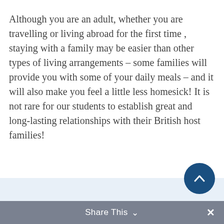Although you are an adult, whether you are travelling or living abroad for the first time , staying with a family may be easier than other types of living arrangements – some families will provide you with some of your daily meals – and it will also make you feel a little less homesick! It is not rare for our students to establish great and long-lasting relationships with their British host families!
Share This ∨  ✕